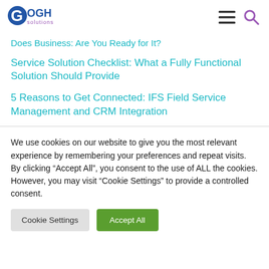[Figure (logo): Gogh Solutions logo with stylized G in blue/purple and 'GOGH solutions' text]
Does Business: Are You Ready for It?
Service Solution Checklist: What a Fully Functional Solution Should Provide
5 Reasons to Get Connected: IFS Field Service Management and CRM Integration
We use cookies on our website to give you the most relevant experience by remembering your preferences and repeat visits. By clicking “Accept All”, you consent to the use of ALL the cookies. However, you may visit “Cookie Settings” to provide a controlled consent.